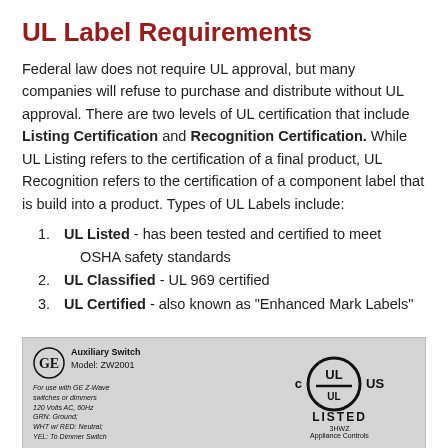UL Label Requirements
Federal law does not require UL approval, but many companies will refuse to purchase and distribute without UL approval. There are two levels of UL certification that include Listing Certification and Recognition Certification. While UL Listing refers to the certification of a final product, UL Recognition refers to the certification of a component label that is build into a product. Types of UL Labels include:
UL Listed - has been tested and certified to meet OSHA safety standards
UL Classified - UL 969 certified
UL Certified - also known as "Enhanced Mark Labels"
[Figure (photo): Photo of a UL Listed label on a GE Auxiliary Switch Model ZW2001, showing GE logo, product details, and the UL Listed c/US certification mark for Appliance Controls (3HWZ)]